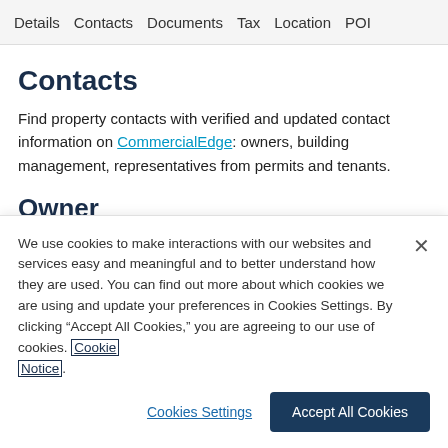Details   Contacts   Documents   Tax   Location   POI
Contacts
Find property contacts with verified and updated contact information on CommercialEdge: owners, building management, representatives from permits and tenants.
Owner
We use cookies to make interactions with our websites and services easy and meaningful and to better understand how they are used. You can find out more about which cookies we are using and update your preferences in Cookies Settings. By clicking “Accept All Cookies,” you are agreeing to our use of cookies. Cookie Notice.
Cookies Settings   Accept All Cookies